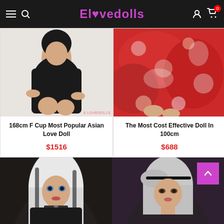Elovedolls
[Figure (photo): Product photo of a doll in a black leather dress, seated pose]
168cm F Cup Most Popular Asian Love Doll
$1516
[Figure (photo): Product photo showing a doll in a red floral kimono]
The Most Cost Effective Doll In 100cm
$688
[Figure (photo): Product photo of a doll with white and black hair]
[Figure (photo): Product photo of a doll with silver-white bob hair]